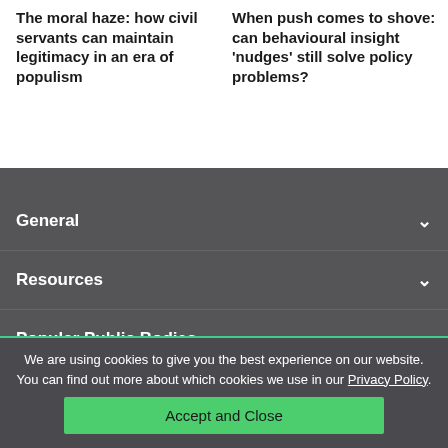The moral haze: how civil servants can maintain legitimacy in an era of populism
When push comes to shove: can behavioural insight 'nudges' still solve policy problems?
General
Resources
Popular Public Bodies
We are using cookies to give you the best experience on our website. You can find out more about which cookies we use in our Privacy Policy.
Accept and Close